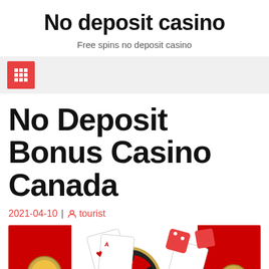No deposit casino
Free spins no deposit casino
[Figure (other): Navigation bar with red grid/menu icon button on light gray background]
No Deposit Bonus Casino Canada
2021-04-10 | tourist
[Figure (photo): Casino themed image with roulette wheel, playing cards, dice, poker chips, and gold coins on a red and white Canadian flag background. 'TOP' badge in bottom right corner.]